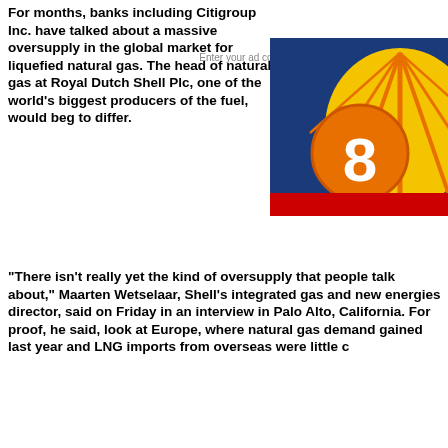For months, banks including Citigroup Inc. have talked about a massive oversupply in the global market for liquefied natural gas. The head of natural gas at Royal Dutch Shell Plc, one of the world's biggest producers of the fuel, would beg to differ.
[Figure (logo): Royal Dutch Shell logo with orange shell emblem and number 8 graphic, partially obscured by ad placeholder text]
"There isn't really yet the kind of oversupply that people talk about," Maarten Wetselaar, Shell's integrated gas and new energies director, said on Friday in an interview in Palo Alto, California. For proof, he said, look at Europe, where natural gas demand gained last year and LNG imports from overseas were little c...
read more
shellplc.website and its sister non-profit websites royaldutchshellplc.com royaldutchshellgroup.com shellenergywensite.com shellnazihistory.com roy... sh... nd media f...
S... G inc to...
Royal Dutch Shell Group .com Cookies Policy
Our Website uses cookies to improve your experience. Please visit our Privacy page for more information about cookies and how we use them.